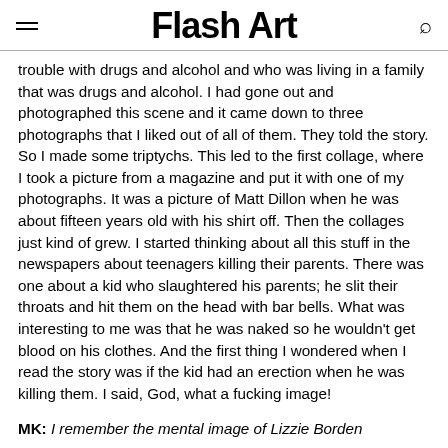Flash Art
trouble with drugs and alcohol and who was living in a family that was drugs and alcohol. I had gone out and photographed this scene and it came down to three photographs that I liked out of all of them. They told the story. So I made some triptychs. This led to the first collage, where I took a picture from a magazine and put it with one of my photographs. It was a picture of Matt Dillon when he was about fifteen years old with his shirt off. Then the collages just kind of grew. I started thinking about all this stuff in the newspapers about teenagers killing their parents. There was one about a kid who slaughtered his parents; he slit their throats and hit them on the head with bar bells. What was interesting to me was that he was naked so he wouldn't get blood on his clothes. And the first thing I wondered when I read the story was if the kid had an erection when he was killing them. I said, God, what a fucking image!
MK: I remember the mental image of Lizzie Borden